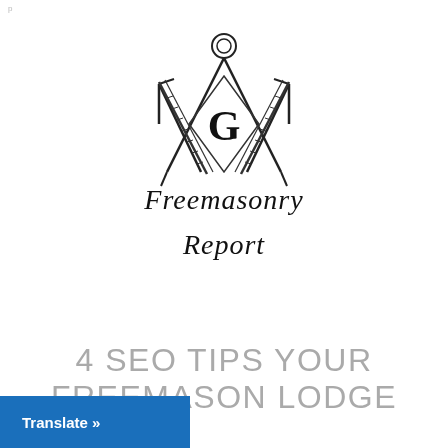[Figure (logo): Freemasonry Report logo: square and compass with G symbol in center, and cursive text 'Freemasonry Report' below]
4 SEO TIPS YOUR FREEMASON LODGE
Translate »